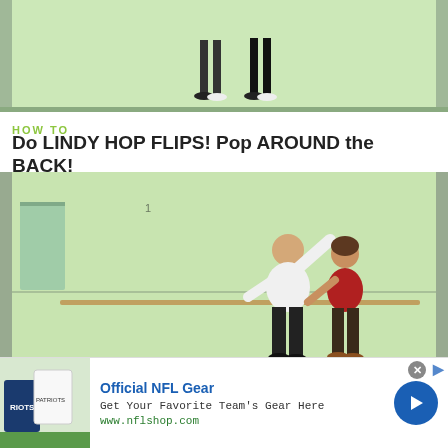[Figure (screenshot): Top portion of a dance tutorial video showing two figures from waist down on a green/light floor]
HOW TO
Do LINDY HOP FLIPS! Pop AROUND the BACK!
[Figure (screenshot): Dance tutorial video showing a man in white shirt and black pants and a woman in red top doing a Lindy Hop move in a dance studio with ballet bars on wall]
HOW TO
[Figure (screenshot): Advertisement: Official NFL Gear - Get Your Favorite Team's Gear Here - www.nflshop.com - showing two NFL jerseys (blue and white) with a blue arrow button]